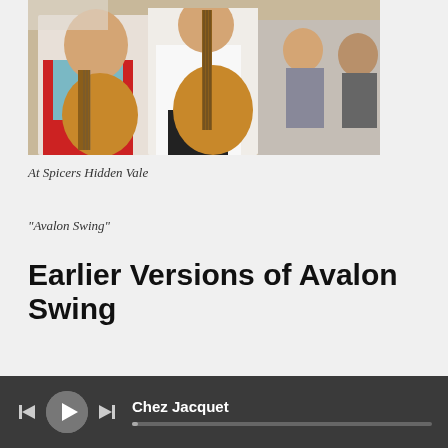[Figure (photo): Photo of musicians performing at an event. A woman in a red cardigan and floral top smiles while playing acoustic guitar, alongside a man in a white shirt also playing guitar. Other people are visible in the background.]
At Spicers Hidden Vale
"Avalon Swing"
Earlier Versions of Avalon Swing
Chez Jacquet